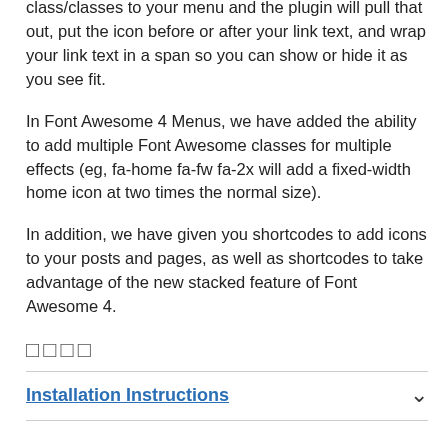class/classes to your menu and the plugin will pull that out, put the icon before or after your link text, and wrap your link text in a span so you can show or hide it as you see fit.
In Font Awesome 4 Menus, we have added the ability to add multiple Font Awesome classes for multiple effects (eg, fa-home fa-fw fa-2x will add a fixed-width home icon at two times the normal size).
In addition, we have given you shortcodes to add icons to your posts and pages, as well as shortcodes to take advantage of the new stacked feature of Font Awesome 4.
□□□□
Installation Instructions